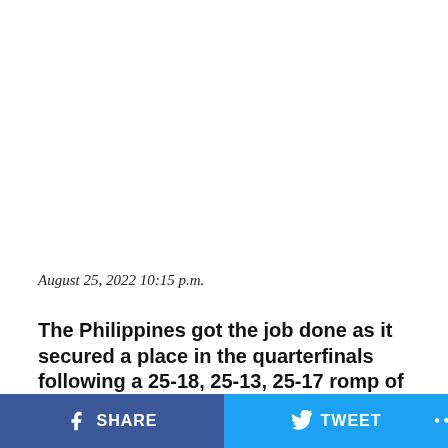August 25, 2022 10:15 p.m.
The Philippines got the job done as it secured a place in the quarterfinals following a 25-18, 25-13, 25-17 romp of South Korea at the end of the AVC Cup for
SHARE   TWEET   ...